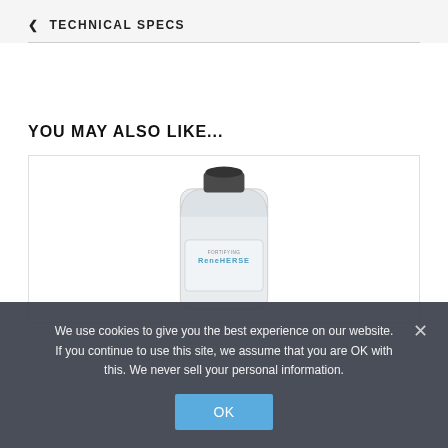TECHNICAL SPECS
YOU MAY ALSO LIKE...
[Figure (photo): A product bottle labeled ReneHERSE with a dark cap, photographed on a white background. The bottle is translucent/white with blue text.]
We use cookies to give you the best experience on our website. If you continue to use this site, we assume that you are OK with this. We never sell your personal information.